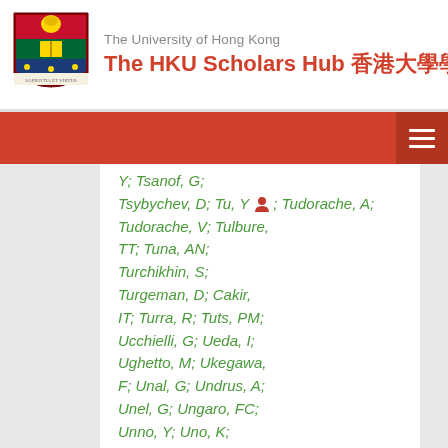The University of Hong Kong — The HKU Scholars Hub 香港大學學術庫
Y; Tsanof, G; Tsybychev, D; Tu, Y; Tudorache, A; Tudorache, V; Tulbure, TT; Tuna, AN; Turchikhin, S; Turgeman, D; Cakir, IT; Turra, R; Tuts, PM; Ucchielli, G; Ueda, I; Ughetto, M; Ukegawa, F; Unal, G; Undrus, A; Unel, G; Ungaro, FC; Unno, Y; Uno, K; Unverdorben, C; Urban, J; Urquijo, P; Urrejola, P; Usai, G; Usui, J; Vacavant, L; Vacek, V; Vachon, B;